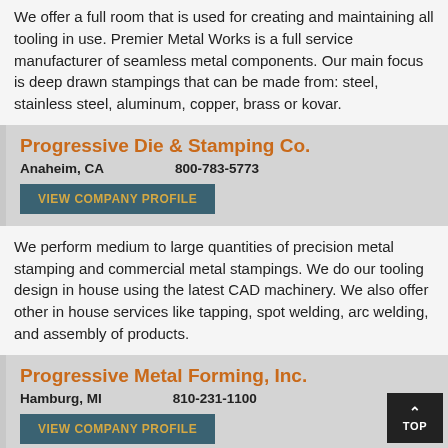We offer a full room that is used for creating and maintaining all tooling in use. Premier Metal Works is a full service manufacturer of seamless metal components. Our main focus is deep drawn stampings that can be made from: steel, stainless steel, aluminum, copper, brass or kovar.
Progressive Die & Stamping Co.
Anaheim, CA    800-783-5773
VIEW COMPANY PROFILE
We perform medium to large quantities of precision metal stamping and commercial metal stampings. We do our tooling design in house using the latest CAD machinery. We also offer other in house services like tapping, spot welding, arc welding, and assembly of products.
Progressive Metal Forming, Inc.
Hamburg, MI    810-231-1100
VIEW COMPANY PROFILE